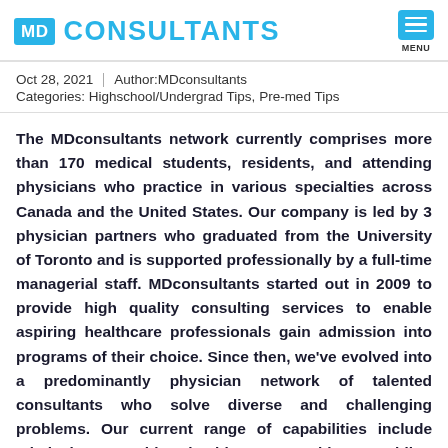MD CONSULTANTS
Oct 28, 2021 | Author:MDconsultants
Categories: Highschool/Undergrad Tips, Pre-med Tips
The MDconsultants network currently comprises more than 170 medical students, residents, and attending physicians who practice in various specialties across Canada and the United States. Our company is led by 3 physician partners who graduated from the University of Toronto and is supported professionally by a full-time managerial staff. MDconsultants started out in 2009 to provide high quality consulting services to enable aspiring healthcare professionals gain admission into programs of their choice. Since then, we've evolved into a predominantly physician network of talented consultants who solve diverse and challenging problems. Our current range of capabilities include admission consulting, healthcare consulting, providing professional second opinions, and delivering healthcare